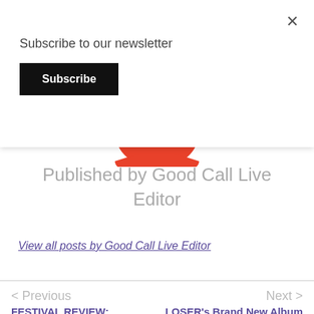Subscribe to our newsletter
Subscribe
[Figure (illustration): Red rounded avatar/profile icon shape, partially visible above a horizontal divider line]
Published by Good Call Live Editor
View all posts by Good Call Live Editor
< Previous
Next >
FESTIVAL REVIEW:
LOSER's Brand New Album